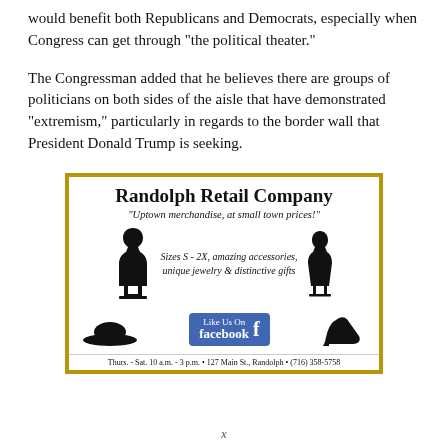would benefit both Republicans and Democrats, especially when Congress can get through “the political theater.”
The Congressman added that he believes there are groups of politicians on both sides of the aisle that have demonstrated “extremism,” particularly in regards to the border wall that President Donald Trump is seeking.
[Figure (illustration): Advertisement for Randolph Retail Company with gold border, dress form silhouettes, hat, high heel shoe, facebook like button. Text: Randolph Retail Company, “Uptown merchandise, at small town prices!”, Sizes S - 2X, amazing accessories, unique jewelry & distinctive gifts. Thurs. - Sat. 10 a.m. - 3 p.m. • 127 Main St., Randolph • (716) 358-5758]
x